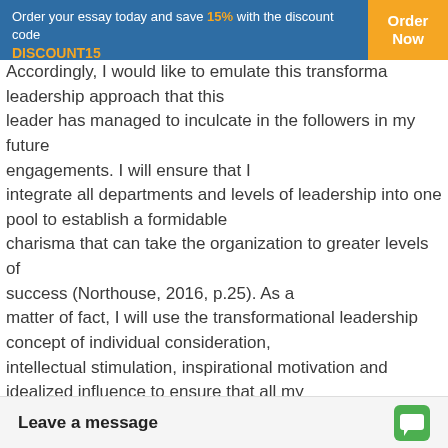Order your essay today and save 15% with the discount code DISCOUNT15 | Order Now
Accordingly, I would like to emulate this transformational leadership approach that this leader has managed to inculcate in the followers in my future engagements. I will ensure that I integrate all departments and levels of leadership into one pool to establish a formidable charisma that can take the organization to greater levels of success (Northouse, 2016, p.25). As a matter of fact, I will use the transformational leadership concept of individual consideration, intellectual stimulation, inspirational motivation and idealized influence to ensure that all my followers collectively contribute towards the successes of the organization.
Conclusion
There are many forms of definition to leadership, both form literature and life experience. None the less it is the re... the action and behaviors... followers to achieve the...